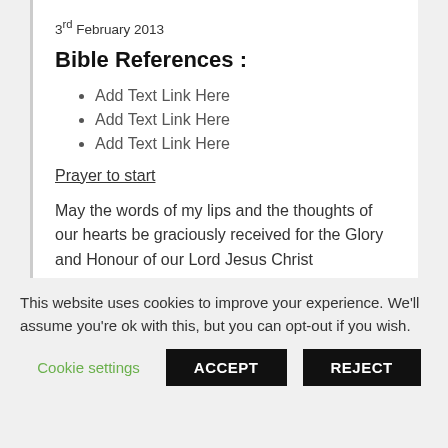3rd February 2013
Bible References :
Add Text Link Here
Add Text Link Here
Add Text Link Here
Prayer to start
May the words of my lips and the thoughts of our hearts be graciously received for the Glory and Honour of our Lord Jesus Christ
AMEN
This website uses cookies to improve your experience. We'll assume you're ok with this, but you can opt-out if you wish.